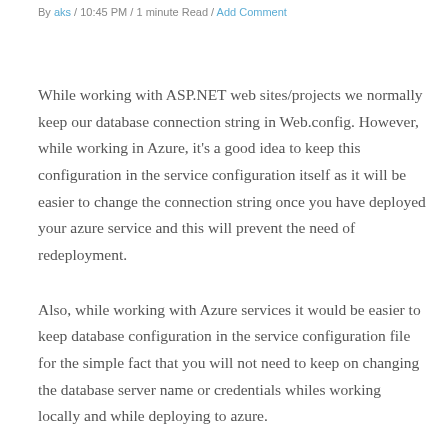By aks / 10:45 PM / 1 minute Read / Add Comment
While working with ASP.NET web sites/projects we normally keep our database connection string in Web.config. However, while working in Azure, it's a good idea to keep this configuration in the service configuration itself as it will be easier to change the connection string once you have deployed your azure service and this will prevent the need of redeployment.
Also, while working with Azure services it would be easier to keep database configuration in the service configuration file for the simple fact that you will not need to keep on changing the database server name or credentials whiles working locally and while deploying to azure.